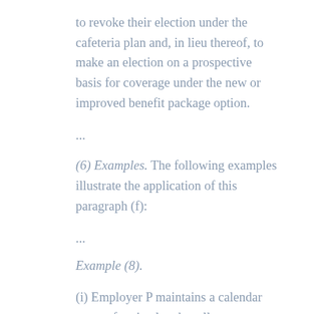to revoke their election under the cafeteria plan and, in lieu thereof, to make an election on a prospective basis for coverage under the new or improved benefit package option.
...
(6) Examples. The following examples illustrate the application of this paragraph (f):
...
Example (8).
(i) Employer P maintains a calendar year cafeteria plan that allows employees to elect